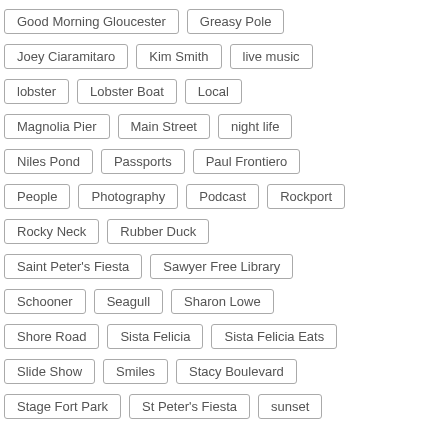Good Morning Gloucester
Greasy Pole
Joey Ciaramitaro
Kim Smith
live music
lobster
Lobster Boat
Local
Magnolia Pier
Main Street
night life
Niles Pond
Passports
Paul Frontiero
People
Photography
Podcast
Rockport
Rocky Neck
Rubber Duck
Saint Peter's Fiesta
Sawyer Free Library
Schooner
Seagull
Sharon Lowe
Shore Road
Sista Felicia
Sista Felicia Eats
Slide Show
Smiles
Stacy Boulevard
Stage Fort Park
St Peter's Fiesta
sunset